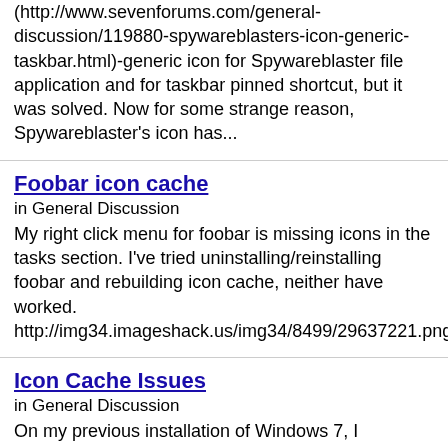(http://www.sevenforums.com/general-discussion/119880-spywareblasters-icon-generic-taskbar.html)-generic icon for Spywareblaster file application and for taskbar pinned shortcut, but it was solved. Now for some strange reason, Spywareblaster's icon has...
Foobar icon cache
in General Discussion
My right click menu for foobar is missing icons in the tasks section. I've tried uninstalling/reinstalling foobar and rebuilding icon cache, neither have worked. http://img34.imageshack.us/img34/8499/29637221.png
Icon Cache Issues
in General Discussion
On my previous installation of Windows 7, I frequently got a corrupt icon cache. The shortcut icon which I had removed from the icons would get replaced by a black box. Clearing the cache would fix it but eventually it'd happen again. Now, on b7600, I'm having a similar issue. For some...